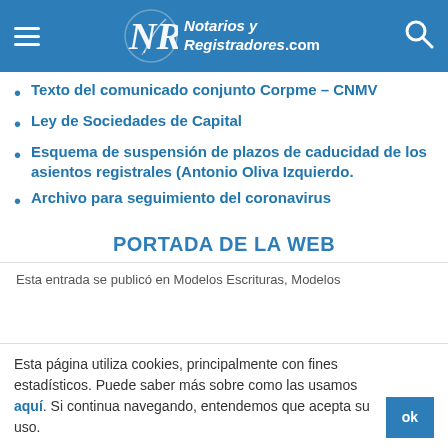Notarios y Registradores.com
Texto del comunicado conjunto Corpme – CNMV
Ley de Sociedades de Capital
Esquema de suspensión de plazos de caducidad de los asientos registrales (Antonio Oliva Izquierdo.
Archivo para seguimiento del coronavirus
PORTADA DE LA WEB
Esta entrada se publicó en Modelos Escrituras, Modelos
Esta página utiliza cookies, principalmente con fines estadísticos. Puede saber más sobre como las usamos aquí. Si continua navegando, entendemos que acepta su uso.